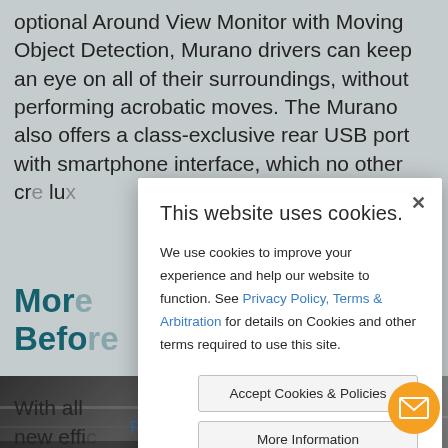optional Around View Monitor with Moving Object Detection, Murano drivers can keep an eye on all of their surroundings, without performing acrobatic moves. The Murano also offers a class-exclusive rear USB port with smartphone interface, which no other cr... lu...
Mor... Befo...
[Figure (photo): Car interior or exterior image in dark tones]
With all... new effi...
Privacy Policy
[Figure (screenshot): Cookie consent modal dialog overlay on the webpage. Title: 'This website uses cookies.' Body text: 'We use cookies to improve your experience and help our website to function. See Privacy Policy, Terms & Arbitration for details on Cookies and other terms required to use this site.' Buttons: 'Accept Cookies & Policies' and 'More Information'. Close button (x) in top right. Privacy Policy link at bottom left.]